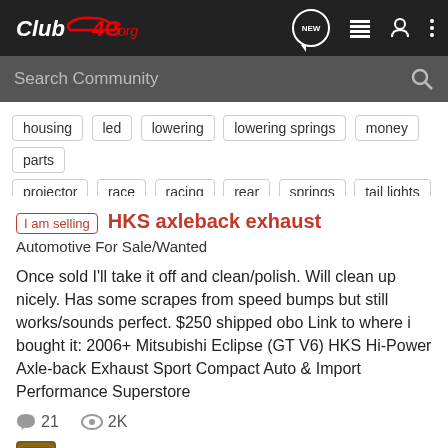Club4G.org
Search Community
housing  led  lowering  lowering springs  money  parts
projector  race  racing  rear  springs  tail lights
I am selling  HKS axleback exhaust
Automotive For Sale/Wanted
Once sold I'll take it off and clean/polish. Will clean up nicely. Has some scrapes from speed bumps but still works/sounds perfect. $250 shipped obo Link to where i bought it: 2006+ Mitsubishi Eclipse (GT V6) HKS Hi-Power Axle-back Exhaust Sport Compact Auto & Import Performance Superstore
21 comments  2K views
silent · Jul 21, 2013